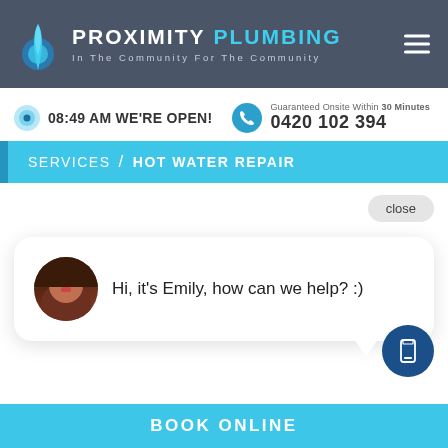[Figure (screenshot): Proximity Plumbing website screenshot showing header with logo, open status bar with phone number, services breadcrumb, and a chat widget with avatar of Emily]
PROXIMITY PLUMBING - In The Community For The Community
08:49 AM WE'RE OPEN!
Guaranteed Onsite Within 30 Minutes 0420 102 394
SERVICES / HOT WATER REPAIR
close
Hi, it's Emily, how can we help? :)
BOOK ONLINE